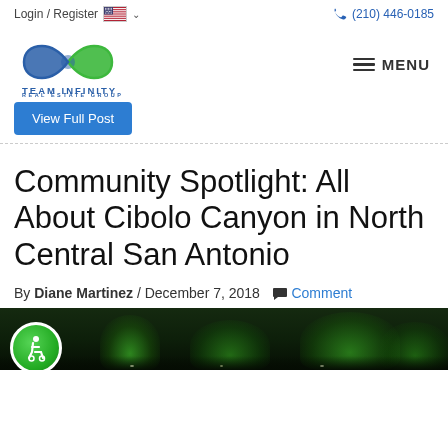Login / Register  🇺🇸 ∨   📞 (210) 446-0185
[Figure (logo): Team Infinity Real Estate Group logo — infinity symbol in blue and green, with text TEAM INFINITY REAL ESTATE GROUP below]
≡ MENU
View Full Post
Community Spotlight: All About Cibolo Canyon in North Central San Antonio
By Diane Martinez / December 7, 2018 💬 Comment
[Figure (photo): Nighttime photo of Cibolo Canyon with green illuminated trees]